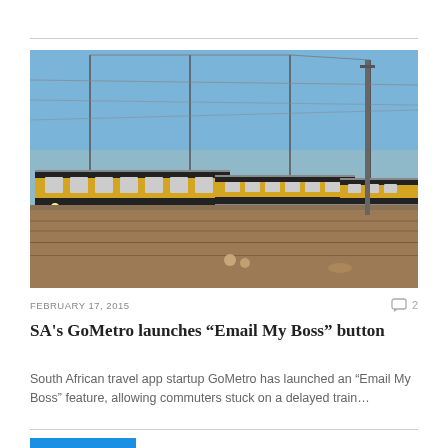[Figure (photo): Yellow and grey commuter trains at a rail yard with overhead power lines and a blue sky background. Multiple train units visible side by side on parallel tracks.]
FEBRUARY 17, 2015
SA's GoMetro launches “Email My Boss” button
South African travel app startup GoMetro has launched an “Email My Boss” feature, allowing commuters stuck on a delayed train…
READ MORE